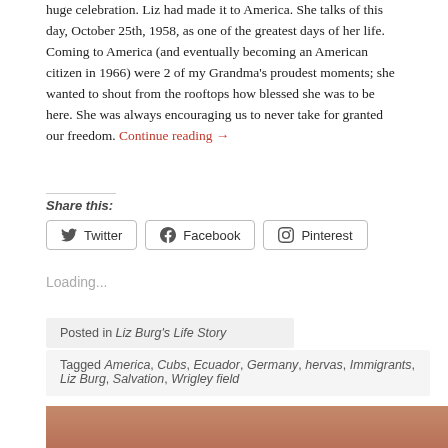huge celebration. Liz had made it to America. She talks of this day, October 25th, 1958, as one of the greatest days of her life. Coming to America (and eventually becoming an American citizen in 1966) were 2 of my Grandma's proudest moments; she wanted to shout from the rooftops how blessed she was to be here. She was always encouraging us to never take for granted our freedom. Continue reading →
Share this:
Loading...
Posted in Liz Burg's Life Story
Tagged America, Cubs, Ecuador, Germany, hervas, Immigrants, Liz Burg, Salvation, Wrigley field
[Figure (photo): Bottom strip showing a partial photo of a person]